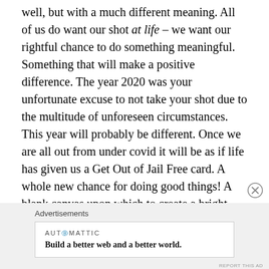well, but with a much different meaning. All of us do want our shot at life – we want our rightful chance to do something meaningful. Something that will make a positive difference. The year 2020 was your unfortunate excuse to not take your shot due to the multitude of unforeseen circumstances. This year will probably be different. Once we are all out from under covid it will be as if life has given us a Get Out of Jail Free card. A whole new chance for doing good things! A blank canvas upon which to create a bright new color scheme, a fascinating composition and a focal point of great meaning. Age is of no importance whatsoever – never use it as an excuse for not taking another brand new shot at life.
Advertisements
[Figure (other): Automattic advertisement banner reading 'Build a better web and a better world.' with Automattic logo]